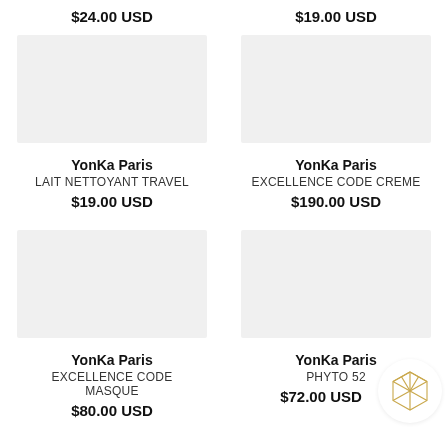$24.00 USD
$19.00 USD
[Figure (photo): Product image placeholder left, top row]
[Figure (photo): Product image placeholder right, top row]
YonKa Paris
LAIT NETTOYANT TRAVEL
$19.00 USD
YonKa Paris
EXCELLENCE CODE CREME
$190.00 USD
[Figure (photo): Product image placeholder left, bottom row]
[Figure (photo): Product image placeholder right, bottom row]
YonKa Paris
EXCELLENCE CODE MASQUE
$80.00 USD
YonKa Paris
PHYTO 52
$72.00 USD
[Figure (logo): Geometric cube logo in gold/tan color]